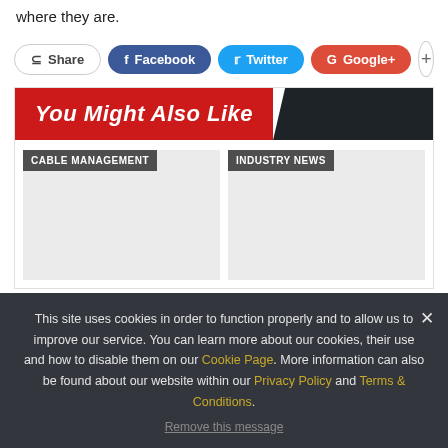where they are.
Share  Facebook  Twitter  Google+  +
You Might Also Like
CABLE MANAGEMENT
INDUSTRY NEWS
This site uses cookies in order to function properly and to allow us to improve our service. You can learn more about our cookies, their use and how to disable them on our Cookie Page. More information can also be found about our website within our Privacy Policy and Terms & Conditions.
Remove this message